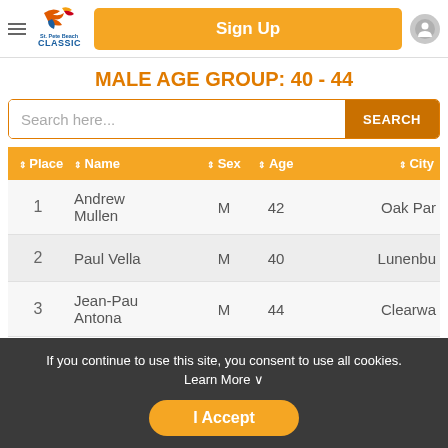Sign Up
MALE AGE GROUP: 40 - 44
| Place | Name | Sex | Age | City |
| --- | --- | --- | --- | --- |
| 1 | Andrew Mullen | M | 42 | Oak Par |
| 2 | Paul Vella | M | 40 | Lunenbu |
| 3 | Jean-Pau Antona | M | 44 | Clearwa |
If you continue to use this site, you consent to use all cookies. Learn More ∨
I Accept